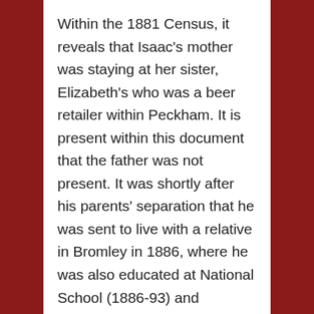Within the 1881 Census, it reveals that Isaac's mother was staying at her sister, Elizabeth's who was a beer retailer within Peckham. It is present within this document that the father was not present. It was shortly after his parents' separation that he was sent to live with a relative in Bromley in 1886, where he was also educated at National School (1886-93) and Congregational Sunday School. Brown's education consisted mainly of basic lessons, with a lack of focus on conventional forms of homework one would be used to in the 21st